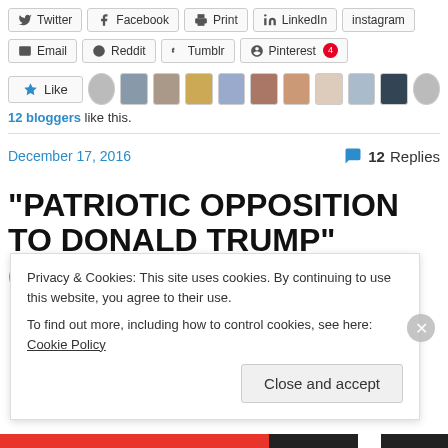[Figure (screenshot): Social share buttons row 1: Twitter, Facebook, Print, LinkedIn, Instagram]
[Figure (screenshot): Social share buttons row 2: Email, Reddit, Tumblr, Pinterest (4)]
[Figure (screenshot): Like button and 12 blogger avatars row]
12 bloggers like this.
December 17, 2016
12 Replies
“PATRIOTIC OPPOSITION TO DONALD TRUMP” (ANOTHER
Privacy & Cookies: This site uses cookies. By continuing to use this website, you agree to their use.
To find out more, including how to control cookies, see here: Cookie Policy